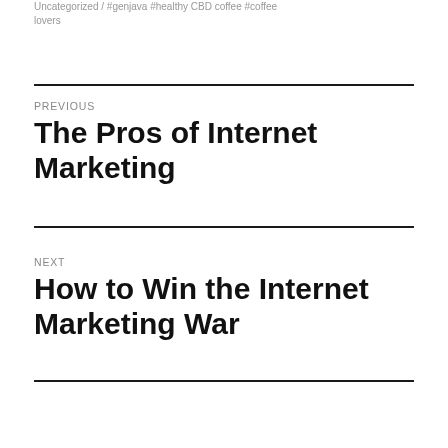Uncategorized / #genjava #healthy CBD coffee #coffee lovers
PREVIOUS
The Pros of Internet Marketing
NEXT
How to Win the Internet Marketing War